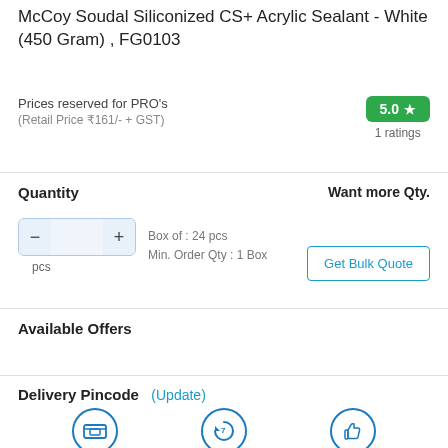McCoy Soudal Siliconized CS+ Acrylic Sealant - White (450 Gram) , FG0103
Prices reserved for PRO's
(Retail Price ₹161/- + GST)
5.0 ★
1 ratings
Quantity
Box of : 24 pcs
Min. Order Qty : 1 Box
Want more Qty.
Get Bulk Quote
Available Offers
Delivery Pincode
(Update)